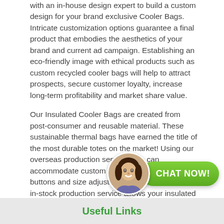with an in-house design expert to build a custom design for your brand exclusive Cooler Bags. Intricate customization options guarantee a final product that embodies the aesthetics of your brand and current ad campaign. Establishing an eco-friendly image with ethical products such as custom recycled cooler bags will help to attract prospects, secure customer loyalty, increase long-term profitability and market share value.
Our Insulated Cooler Bags are created from post-consumer and reusable material. These sustainable thermal bags have earned the title of the most durable totes on the market! Using our overseas production services, we can accommodate custom add-ons including zippers, buttons and size adjustments. Additionally, our in-stock production service allows your insulated bags to be delivered within a quicker timeframe.
[Figure (other): Chat widget with a smiling woman avatar on the left and a green rounded rectangle button on the right reading CHAT NOW!]
Useful Links